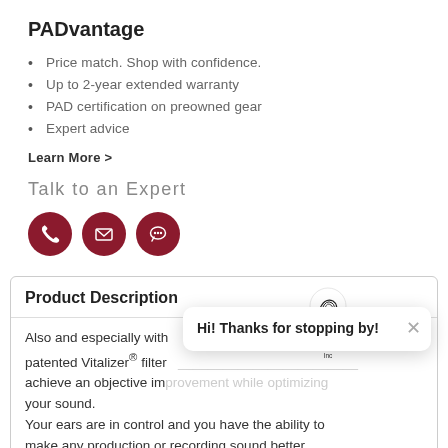PADvantage
Price match. Shop with confidence.
Up to 2-year extended warranty
PAD certification on preowned gear
Expert advice
Learn More >
Talk to an Expert
[Figure (illustration): Three dark red circular icon buttons: phone, email, and chat icons]
Product Description
Also and especially with patented Vitalizer® filter achieve an objective improvement while optimizing your sound. Your ears are in control and you have the ability to make any production or recording sound better instantly: more detail, more transparency, more
[Figure (screenshot): Chat popup overlay with Pro Audio Design Inc logo and text 'Hi! Thanks for stopping by!' with close button, and a dark red chat bubble button in the corner]